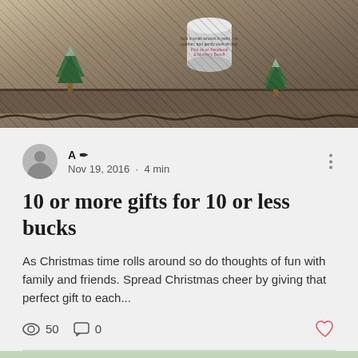[Figure (photo): Top photo of Christmas decorations on a shelf: miniature bottle-brush trees, a small tin/canister, rope decoration, rustic wooden shelf background]
A / Nov 19, 2016 · 4 min
10 or more gifts for 10 or less bucks
As Christmas time rolls around so do thoughts of fun with family and friends. Spread Christmas cheer by giving that perfect gift to each...
50   0
[Figure (photo): Bottom partial photo showing blurry green/blue background with two blue rectangular objects at the bottom center]